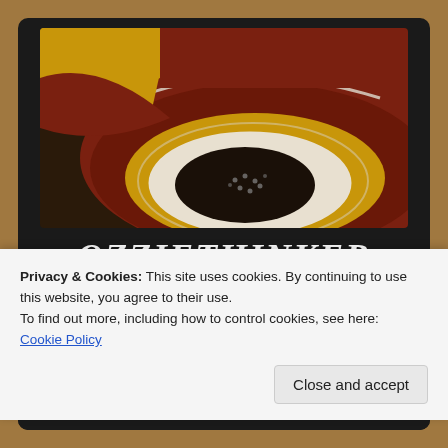[Figure (illustration): Aboriginal-style artwork with curved shapes in ochre/gold, dark red/brown, white outlines, and a dark dotted center, resembling a stylized eye or concentric curved bands]
OZZIETHINKER
Conscientious human beings should not limit their consciousness to matters of survival. This blog empowers those with conscience whilst enhancing
Privacy & Cookies: This site uses cookies. By continuing to use this website, you agree to their use.
To find out more, including how to control cookies, see here:
Cookie Policy
Close and accept
Menu